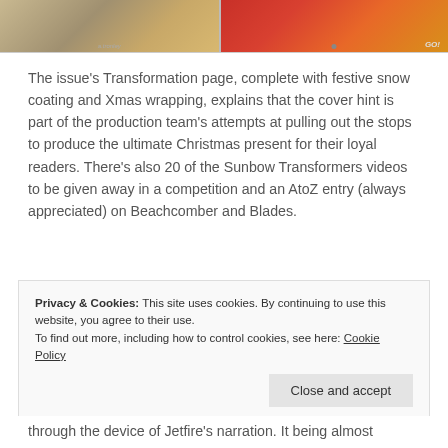[Figure (illustration): Two comic book panel images side by side showing colorful comic art, left panel with muted tones and right panel with red/orange tones]
The issue's Transformation page, complete with festive snow coating and Xmas wrapping, explains that the cover hint is part of the production team's attempts at pulling out the stops to produce the ultimate Christmas present for their loyal readers. There's also 20 of the Sunbow Transformers videos to be given away in a competition and an AtoZ entry (always appreciated) on Beachcomber and Blades.
Privacy & Cookies: This site uses cookies. By continuing to use this website, you agree to their use.
To find out more, including how to control cookies, see here: Cookie Policy
through the device of Jetfire's narration. It being almost